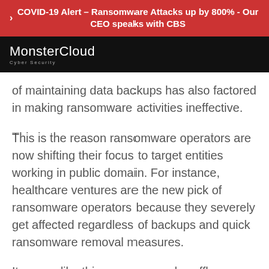> COVID-19 Alert – Ransomware Attacks up by 800% - Our CEO speaks with CBS
[Figure (logo): MonsterCloud Cyber Security logo on black background]
of maintaining data backups has also factored in making ransomware activities ineffective.
This is the reason ransomware operators are now shifting their focus to target entities working in public domain. For instance, healthcare ventures are the new pick of ransomware operators because they severely get affected regardless of backups and quick ransomware removal measures.
It seems like this unannounced scuffle between cryptovirological operators and security experts